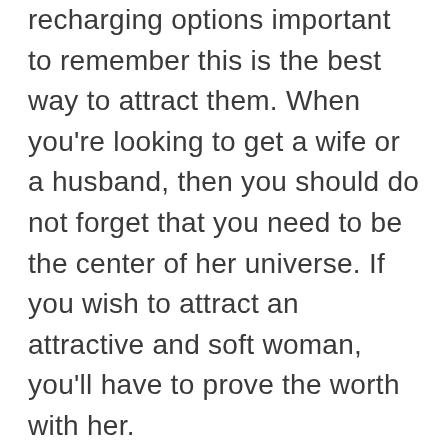recharging options important to remember this is the best way to attract them. When you're looking to get a wife or a husband, then you should do not forget that you need to be the center of her universe. If you wish to attract an attractive and soft woman, you'll have to prove the worth with her.
When it comes to dating a Guatemalan girl, you'll want to hold a few factors in mind. Initial, you should be aware showing how these girls treat the men. Although they may appearance very nice, they can be incredibly moody. They're also not very accepting and will tell you what they think. This can be an issue for